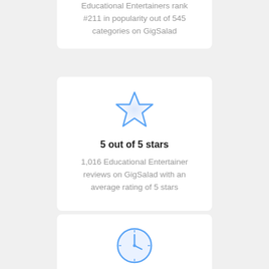Educational Entertainers rank #211 in popularity out of 545 categories on GigSalad
[Figure (illustration): Blue outline star icon]
5 out of 5 stars
1,016 Educational Entertainer reviews on GigSalad with an average rating of 5 stars
[Figure (illustration): Blue outline clock icon, partially visible at bottom]